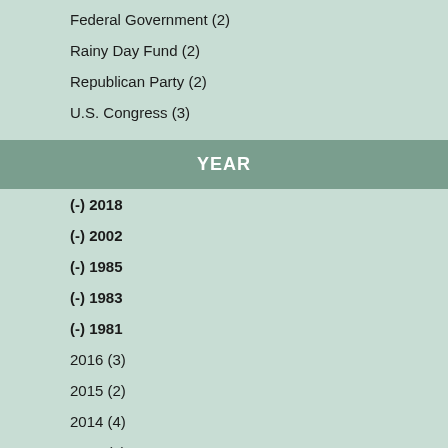Federal Government (2)
Rainy Day Fund (2)
Republican Party (2)
U.S. Congress (3)
YEAR
(-) 2018
(-) 2002
(-) 1985
(-) 1983
(-) 1981
2016 (3)
2015 (2)
2014 (4)
2012 (7)
2010 (1)
2008 (9)
2006 (1)
2004 (7)